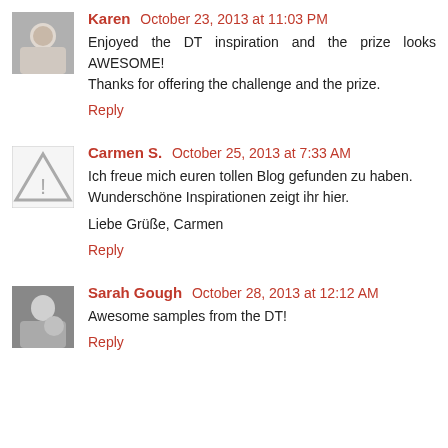Karen  October 23, 2013 at 11:03 PM
Enjoyed the DT inspiration and the prize looks AWESOME! Thanks for offering the challenge and the prize.
Reply
Carmen S.  October 25, 2013 at 7:33 AM
Ich freue mich euren tollen Blog gefunden zu haben. Wunderschöne Inspirationen zeigt ihr hier.
Liebe Grüße, Carmen
Reply
Sarah Gough  October 28, 2013 at 12:12 AM
Awesome samples from the DT!
Reply